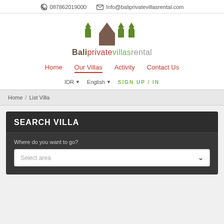087862019000  Info@baliprivatevillasrental.com
[Figure (logo): Bali Private Villas Rental logo with house icons in green and brown, with text Baliprivatevillasrental]
Home  Our Villas  Activity  Contact Us
IDR  English  SIGN UP / IN
Home / List Villa
SEARCH VILLA
Where do you want to go?
Select area